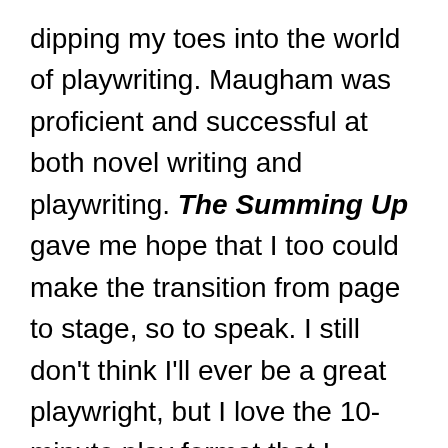dipping my toes into the world of playwriting. Maugham was proficient and successful at both novel writing and playwriting. The Summing Up gave me hope that I too could make the transition from page to stage, so to speak. I still don't think I'll ever be a great playwright, but I love the 10-minute play format that I stumbled into a few years back. It's electric, intense and exciting. It summons the same adrenaline rush I first experienced at my first 72hr Muskoka Novel Marathon. That fear that almost paralyses you, even as it propels you furiously forward to create. By the end, you